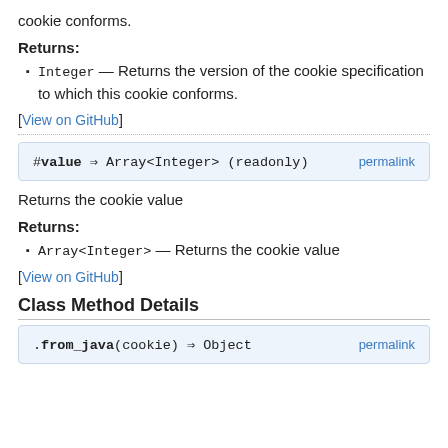cookie conforms.
Returns:
(Integer) — Returns the version of the cookie specification to which this cookie conforms.
[View on GitHub]
#value ⇒ Array<Integer> (readonly)   permalink
Returns the cookie value
Returns:
(Array<Integer>) — Returns the cookie value
[View on GitHub]
Class Method Details
.from_java(cookie) ⇒ Object   permalink